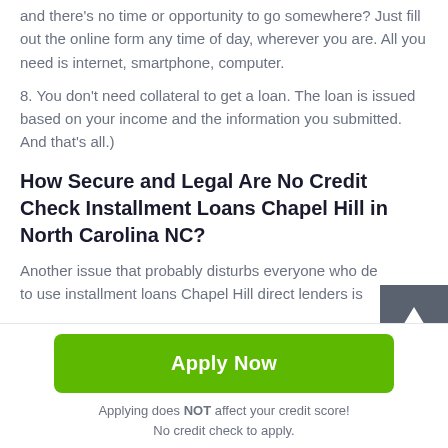and there's no time or opportunity to go somewhere? Just fill out the online form any time of day, wherever you are. All you need is internet, smartphone, computer.
8. You don't need collateral to get a loan. The loan is issued based on your income and the information you submitted. And that's all.)
How Secure and Legal Are No Credit Check Installment Loans Chapel Hill in North Carolina NC?
Another issue that probably disturbs everyone who decides to use installment loans Chapel Hill direct lenders is
Apply Now
Applying does NOT affect your credit score!
No credit check to apply.